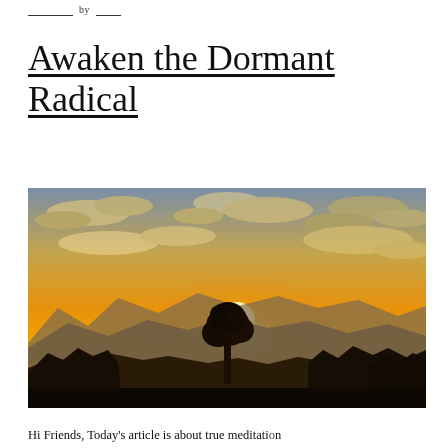by
Awaken the Dormant Radical
[Figure (photo): A dramatic sunset landscape with a lone tree silhouetted against a bright orange and golden sky, with clouds and distant mountains in the background, surrounded by dark treeline.]
Hi Friends, Today's article is about true meditation